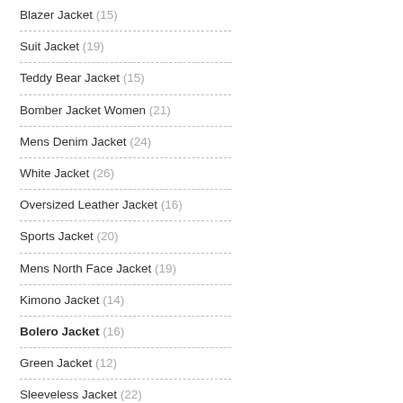Blazer Jacket (15)
Suit Jacket (19)
Teddy Bear Jacket (15)
Bomber Jacket Women (21)
Mens Denim Jacket (24)
White Jacket (26)
Oversized Leather Jacket (16)
Sports Jacket (20)
Mens North Face Jacket (19)
Kimono Jacket (14)
Bolero Jacket (16)
Green Jacket (12)
Sleeveless Jacket (22)
Womens Winter Jackets (13)
Beige Puffer Jacket (15)
Cropped Jacket (20)